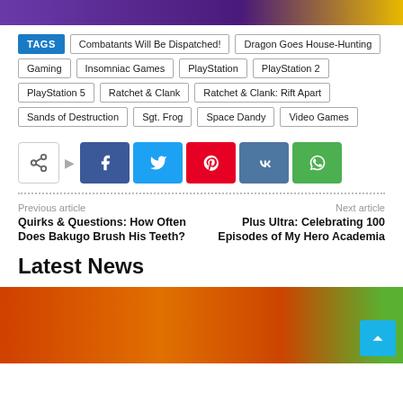[Figure (photo): Top banner image with purple and yellow gradient background]
TAGS  Combatants Will Be Dispatched!  Dragon Goes House-Hunting  Gaming  Insomniac Games  PlayStation  PlayStation 2  PlayStation 5  Ratchet & Clank  Ratchet & Clank: Rift Apart  Sands of Destruction  Sgt. Frog  Space Dandy  Video Games
[Figure (infographic): Social share buttons: share icon, Facebook, Twitter, Pinterest, VK, WhatsApp]
Previous article
Quirks & Questions: How Often Does Bakugo Brush His Teeth?
Next article
Plus Ultra: Celebrating 100 Episodes of My Hero Academia
Latest News
[Figure (photo): Bottom image with orange and green gradient, back-to-top button]